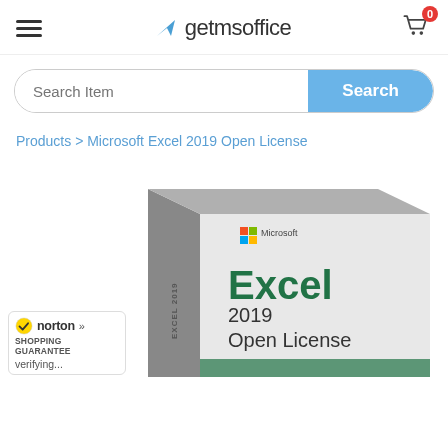getmsoffice — navigation header with hamburger menu and cart (0 items)
Search Item | Search
Products > Microsoft Excel 2019 Open License
[Figure (photo): Microsoft Excel 2019 Open License product box. Box shows Microsoft logo, 'Excel 2019 Open License' in green and dark text on a light grey box.]
[Figure (logo): Norton Shopping Guarantee badge with checkmark, 'norton' text, double chevron, 'SHOPPING GUARANTEE' subtitle, and 'verifying...' status text.]